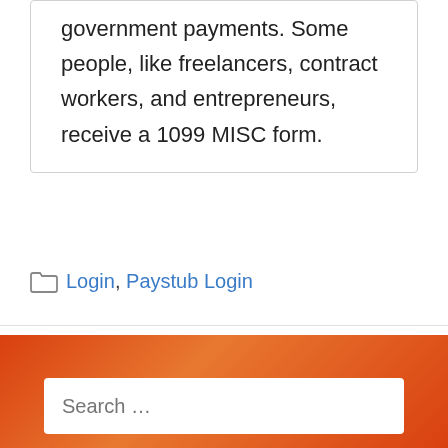government payments. Some people, like freelancers, contract workers, and entrepreneurs, receive a 1099 MISC form.
Login, Paystub Login
Search …